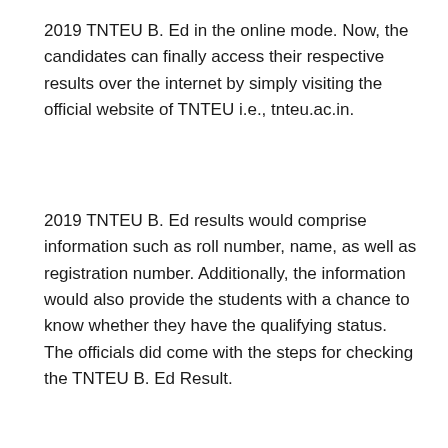2019 TNTEU B. Ed in the online mode. Now, the candidates can finally access their respective results over the internet by simply visiting the official website of TNTEU i.e., tnteu.ac.in.
2019 TNTEU B. Ed results would comprise information such as roll number, name, as well as registration number. Additionally, the information would also provide the students with a chance to know whether they have the qualifying status. The officials did come with the steps for checking the TNTEU B. Ed Result.